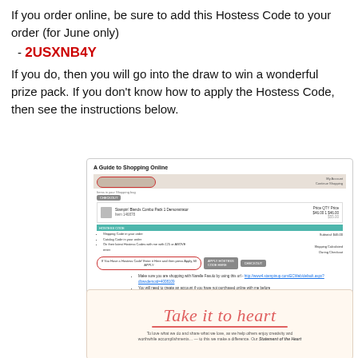If you order online, be sure to add this Hostess Code to your order (for June only)
- 2USXNB4Y
If you do, then you will go into the draw to win a wonderful prize pack. If you don't know how to apply the Hostess Code, then see the instructions below.
[Figure (screenshot): A Guide to Shopping Online - screenshot of an online shopping bag page with circled hostess code input field, and bullet point instructions for shopping with Narelle Fasulo]
[Figure (illustration): Take it to heart - decorative script text with red/coral color on light background with tagline about sharing what we love]